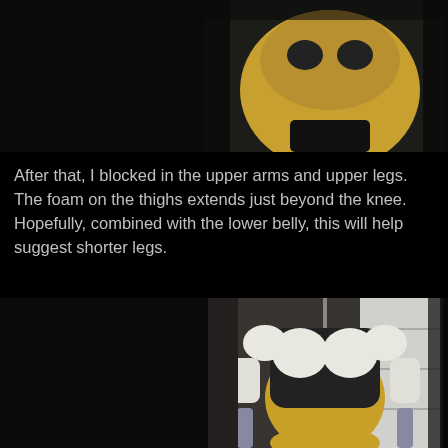[Figure (photo): Close-up photo of a bee/insect character costume head/mask with yellow face, appearing to be a movie character or mascot, shown against dark background]
After that, I blocked in the upper arms and upper legs. The foam on the thighs extends just beyond the knee. Hopefully, combined with the lower belly, this will help suggest shorter legs.
[Figure (photo): Photo of a bee/insect character costume torso hanging from a chain in what appears to be a workshop or studio. The costume shows yellow and black body with white foam shoulder pads, upper arm pieces, and metallic lower arms/hands. Various props and shelves visible in the background.]